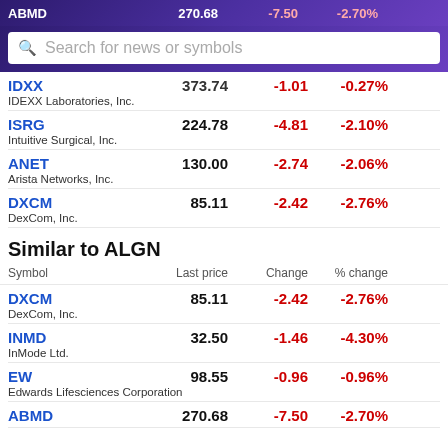ABMD 270.68 -7.50 -2.70%
Search for news or symbols
| Symbol | Last price | Change | % change |
| --- | --- | --- | --- |
| IDXX | 373.74 | -1.01 | -0.27% |
| IDEXX Laboratories, Inc. |  |  |  |
| ISRG | 224.78 | -4.81 | -2.10% |
| Intuitive Surgical, Inc. |  |  |  |
| ANET | 130.00 | -2.74 | -2.06% |
| Arista Networks, Inc. |  |  |  |
| DXCM | 85.11 | -2.42 | -2.76% |
| DexCom, Inc. |  |  |  |
Similar to ALGN
| Symbol | Last price | Change | % change |
| --- | --- | --- | --- |
| DXCM | 85.11 | -2.42 | -2.76% |
| DexCom, Inc. |  |  |  |
| INMD | 32.50 | -1.46 | -4.30% |
| InMode Ltd. |  |  |  |
| EW | 98.55 | -0.96 | -0.96% |
| Edwards Lifesciences Corporation |  |  |  |
| ABMD | 270.68 | -7.50 | -2.70% |